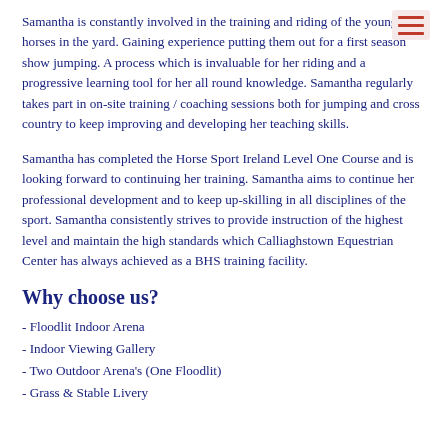Samantha is constantly involved in the training and riding of the young horses in the yard. Gaining experience putting them out for a first season show jumping. A process which is invaluable for her riding and a progressive learning tool for her all round knowledge. Samantha regularly takes part in on-site training / coaching sessions both for jumping and cross country to keep improving and developing her teaching skills.
Samantha has completed the Horse Sport Ireland Level One Course and is looking forward to continuing her training. Samantha aims to continue her professional development and to keep up-skilling in all disciplines of the sport. Samantha consistently strives to provide instruction of the highest level and maintain the high standards which Calliaghstown Equestrian Center has always achieved as a BHS training facility.
Why choose us?
- Floodlit Indoor Arena
- Indoor Viewing Gallery
- Two Outdoor Arena's (One Floodlit)
- Grass & Stable Livery